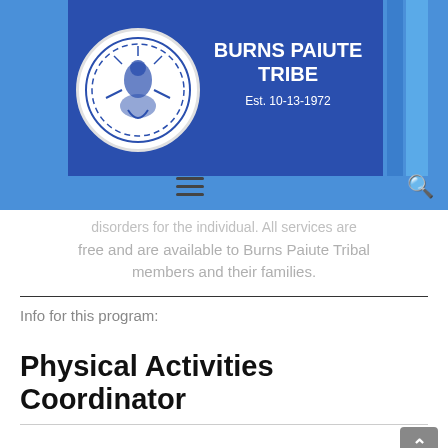[Figure (logo): Burns Paiute Tribe logo with circular tribal emblem and text 'BURNS PAIUTE TRIBE Est. 10-13-1972' on blue header background with hamburger menu and search icon]
free and are available to Burns Paiute Tribal members and their families.
Info for this program:
Physical Activities Coordinator